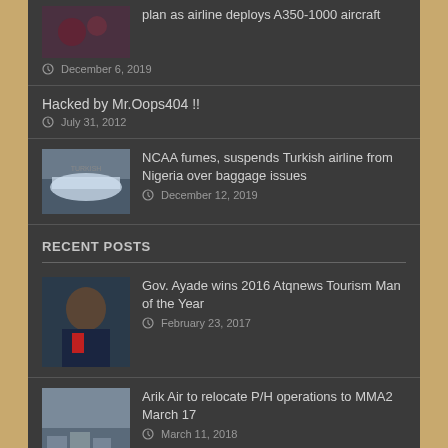plan as airline deploys A350-1000 aircraft
December 6, 2019
Hacked by Mr.Oops404 !!
July 31, 2012
NCAA fumes, suspends Turkish airline from Nigeria over baggage issues
December 12, 2019
RECENT POSTS
Gov. Ayade wins 2016 Atqnews Tourism Man of the Year
February 23, 2017
Arik Air to relocate P/H operations to MMA2 March 17
March 11, 2018
Dana Air named among 100